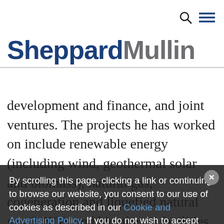Sheppard Mullin — navigation bar with search and menu icons
SheppardMullin
development and finance, and joint ventures. The projects he has worked on include renewable energy (including wind, geothermal solar and biomass), natural gas, cogeneration and liquefied natural gas (LNG), and bioethanol facilities. He has handled many billions of dollars of energy project finance transactions and worked on some of the largest power projects to be developed and/or owned in a fully deregulated
By scrolling this page, clicking a link or continuing to browse our website, you consent to our use of cookies as described in our Cookie and Advertising Policy. If you do not wish to accept cookies from our website, or would like to stop cookies being stored on your device in the future, you can find out more and adjust your preferences here.